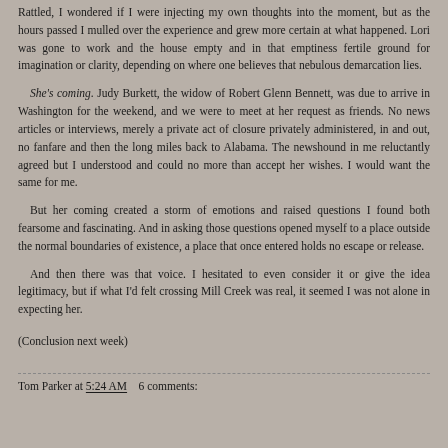Rattled, I wondered if I were injecting my own thoughts into the moment, but as the hours passed I mulled over the experience and grew more certain at what happened. Lori was gone to work and the house empty and in that emptiness fertile ground for imagination or clarity, depending on where one believes that nebulous demarcation lies.
She's coming. Judy Burkett, the widow of Robert Glenn Bennett, was due to arrive in Washington for the weekend, and we were to meet at her request as friends. No news articles or interviews, merely a private act of closure privately administered, in and out, no fanfare and then the long miles back to Alabama. The newshound in me reluctantly agreed but I understood and could no more than accept her wishes. I would want the same for me.
But her coming created a storm of emotions and raised questions I found both fearsome and fascinating. And in asking those questions opened myself to a place outside the normal boundaries of existence, a place that once entered holds no escape or release.
And then there was that voice. I hesitated to even consider it or give the idea legitimacy, but if what I'd felt crossing Mill Creek was real, it seemed I was not alone in expecting her.
(Conclusion next week)
Tom Parker at 5:24 AM    6 comments: